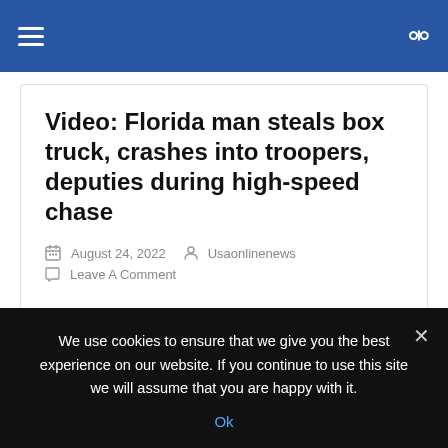Navigation bar with hamburger menu and search icon
Video: Florida man steals box truck, crashes into troopers, deputies during high-speed chase
August 24, 2022  Usaonlinenews  Leave A Comment
The Florida Highway Patrol said one person was hurt after a man stole a box truck vehicle and led troopers on a high-speed chase in Gainesville Tuesd  Read More...
We use cookies to ensure that we give you the best experience on our website. If you continue to use this site we will assume that you are happy with it. Ok